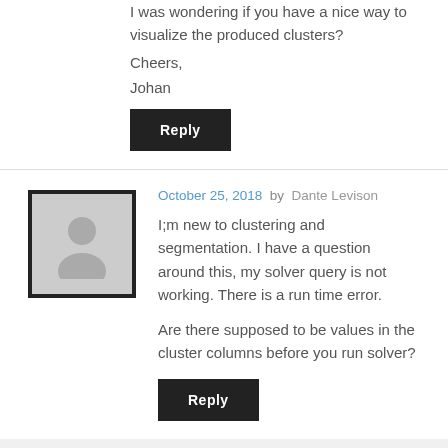I was wondering if you have a nice way to visualize the produced clusters?
Cheers,
Johan
Reply
October 25, 2018  by  Dante Levison
I;m new to clustering and segmentation. I have a question around this, my solver query is not working. There is a run time error.
Are there supposed to be values in the cluster columns before you run solver?
Reply